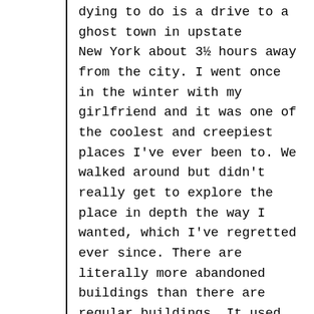dying to do is a drive to a ghost town in upstate New York about 3½ hours away from the city. I went once in the winter with my girlfriend and it was one of the coolest and creepiest places I've ever been to. We walked around but didn't really get to explore the place in depth the way I wanted, which I've regretted ever since. There are literally more abandoned buildings than there are regular buildings. It used to be this place where rich Jews went to vacation in the early 20th century so there are hotels and spas that have been unoccupied for decades.

Other than that, I'll be in California later this month and would love to get back to